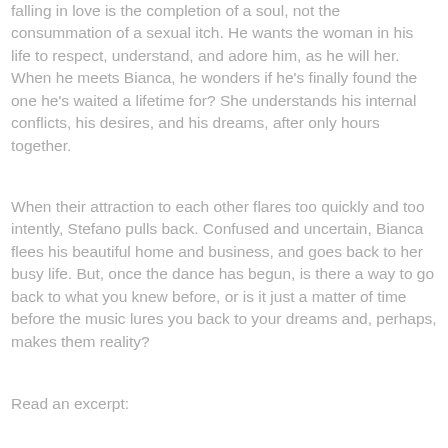falling in love is the completion of a soul, not the consummation of a sexual itch. He wants the woman in his life to respect, understand, and adore him, as he will her. When he meets Bianca, he wonders if he's finally found the one he's waited a lifetime for? She understands his internal conflicts, his desires, and his dreams, after only hours together.
When their attraction to each other flares too quickly and too intently, Stefano pulls back. Confused and uncertain, Bianca flees his beautiful home and business, and goes back to her busy life. But, once the dance has begun, is there a way to go back to what you knew before, or is it just a matter of time before the music lures you back to your dreams and, perhaps, makes them reality?
Read an excerpt: